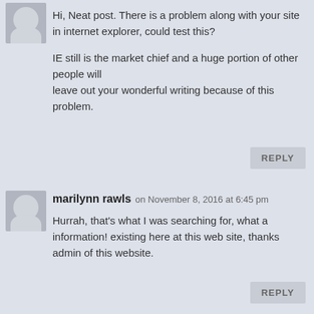[Figure (illustration): Anonymous user avatar - grey silhouette figure on grey background]
Hi, Neat post. There is a problem along with your site in internet explorer, could test this?

IE still is the market chief and a huge portion of other people will
leave out your wonderful writing because of this problem.
REPLY
[Figure (illustration): Anonymous user avatar - grey silhouette figure on grey background]
marilynn rawls on November 8, 2016 at 6:45 pm
Hurrah, that's what I was searching for, what a information! existing here at this web site, thanks admin of this website.
REPLY